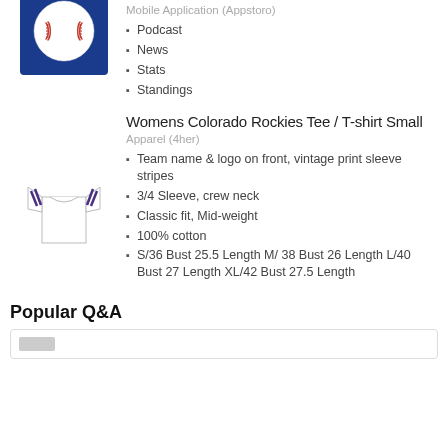by the players
Colorado Baseball
Mobile Application (Appstoro)
[Figure (photo): Baseball on blue background]
Podcast
News
Stats
Standings
Womens Colorado Rockies Tee / T-shirt Small
Apparel (4her)
[Figure (photo): Colorado Rockies women's baseball tee shirt, white with purple stripes]
Team name & logo on front, vintage print sleeve stripes
3/4 Sleeve, crew neck
Classic fit, Mid-weight
100% cotton
S/36 Bust 25.5 Length M/ 38 Bust 26 Length L/40 Bust 27 Length XL/42 Bust 27.5 Length
Popular Q&A